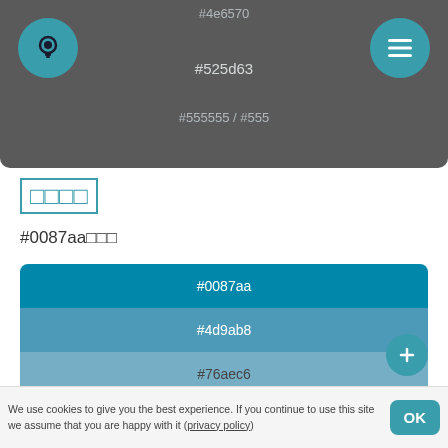[Figure (screenshot): App header bar with dark gray background showing color hex codes #4e6570, #525d63, #555555 / #555, with teal circular icon buttons on left (lightbulb) and right (hamburger menu)]
□□□□
#0087aa□□□
[Figure (infographic): Color palette showing tints of #0087aa: #0087aa (darkest teal), #4d9ab8, #76aec6, #9ac2d4, #bcd6e2, #deeaf1 (lightest)]
We use cookies to give you the best experience. If you continue to use this site we assume that you are happy with it (privacy policy)